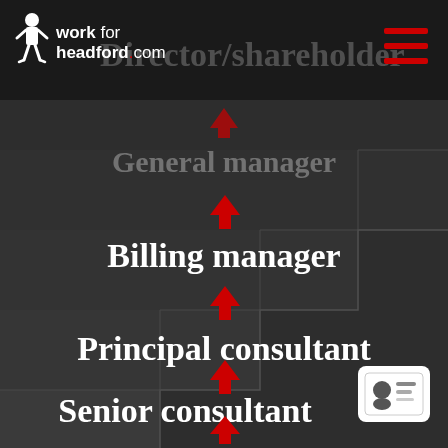[Figure (infographic): Career progression organizational chart showing upward staircase with roles: Director/shareholder (faded top), General manager (faded), Billing manager, Principal consultant, Senior consultant, with red upward arrows between each level. workforheadford.com logo top left, hamburger menu top right, ID card icon bottom right.]
Director/shareholder
General manager
Billing manager
Principal consultant
Senior consultant